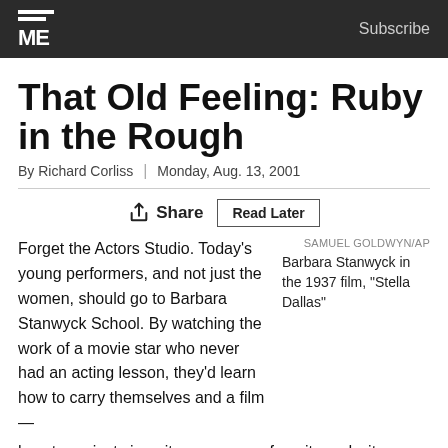ME | Subscribe
That Old Feeling: Ruby in the Rough
By Richard Corliss | Monday, Aug. 13, 2001
Share  Read Later
Forget the Actors Studio. Today's young performers, and not just the women, should go to Barbara Stanwyck School. By watching the work of a movie star who never had an acting lesson, they'd learn how to carry themselves and a film — how to project sincerity, arrogance, ferocity and wit. They'd learn how to speak quickly in adult tones that give power and nuance to every phrase; Stanwyck could really move the merchandise. And if they look at
SAMUEL GOLDWYN/AP
Barbara Stanwyck in the 1937 film, "Stella Dallas"